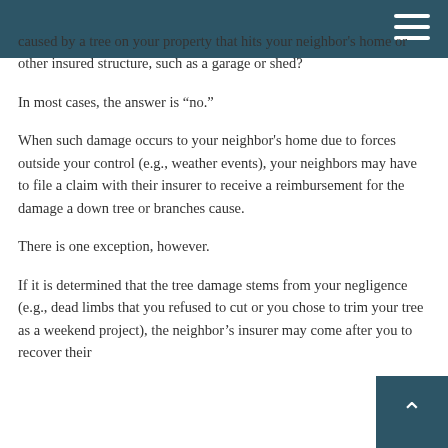caused by a tree on your property that hits your neighbor's home or other insured structure, such as a garage or shed?
In most cases, the answer is “no.”
When such damage occurs to your neighbor's home due to forces outside your control (e.g., weather events), your neighbors may have to file a claim with their insurer to receive a reimbursement for the damage a down tree or branches cause.
There is one exception, however.
If it is determined that the tree damage stems from your negligence (e.g., dead limbs that you refused to cut or you chose to trim your tree as a weekend project), the neighbor’s insurer may come after you to recover their